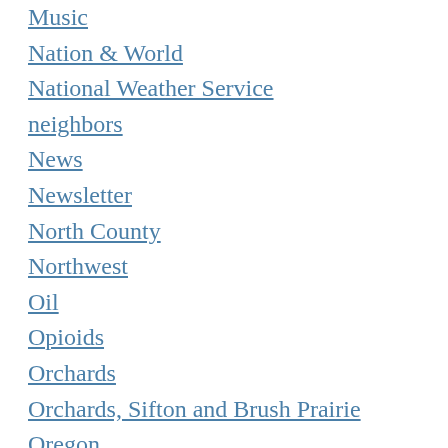Music
Nation & World
National Weather Service
neighbors
News
Newsletter
North County
Northwest
Oil
Opioids
Orchards
Orchards, Sifton and Brush Prairie
Oregon
Outdoors
Patriot Prayer